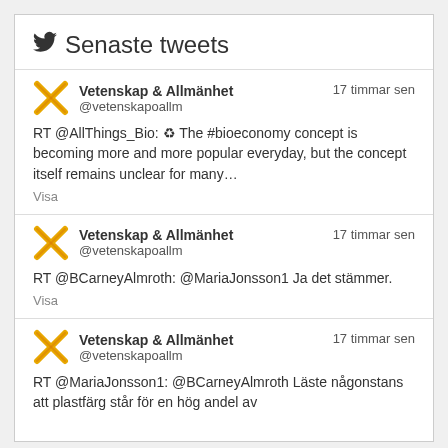Senaste tweets
Vetenskap & Allmänhet @vetenskapoallm 17 timmar sen
RT @AllThings_Bio: ♻ The #bioeconomy concept is becoming more and more popular everyday, but the concept itself remains unclear for many…
Visa
Vetenskap & Allmänhet @vetenskapoallm 17 timmar sen
RT @BCarneyAlmroth: @MariaJonsson1 Ja det stämmer.
Visa
Vetenskap & Allmänhet @vetenskapoallm 17 timmar sen
RT @MariaJonsson1: @BCarneyAlmroth Läste någonstans att plastfärg står för en hög andel av